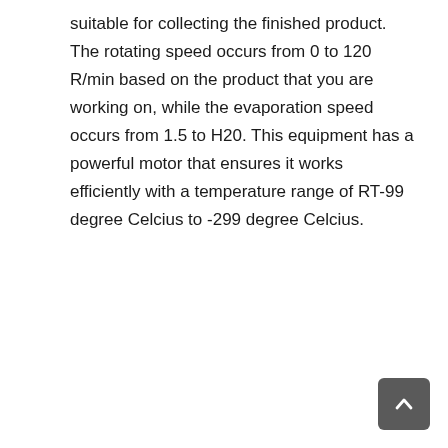suitable for collecting the finished product. The rotating speed occurs from 0 to 120 R/min based on the product that you are working on, while the evaporation speed occurs from 1.5 to H20. This equipment has a powerful motor that ensures it works efficiently with a temperature range of RT-99 degree Celcius to -299 degree Celcius.